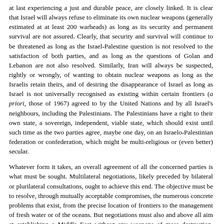at last experiencing a just and durable peace, are closely linked. It is clear that Israel will always refuse to eliminate its own nuclear weapons (generally estimated at at least 200 warheads) as long as its security and permanent survival are not assured. Clearly, that security and survival will continue to be threatened as long as the Israel-Palestine question is not resolved to the satisfaction of both parties, and as long as the questions of Golan and Lebanon are not also resolved. Similarly, Iran will always be suspected, rightly or wrongly, of wanting to obtain nuclear weapons as long as the Israelis retain theirs, and of desiring the disappearance of Israel as long as Israel is not universally recognised as existing within certain frontiers (a priori, those of 1967) agreed to by the United Nations and by all Israel's neighbours, including the Palestinians. The Palestinians have a right to their own state, a sovereign, independent, viable state, which should exist until such time as the two parties agree, maybe one day, on an Israelo-Palestinian federation or confederation, which might be multi-religious or (even better) secular.
Whatever form it takes, an overall agreement of all the concerned parties is what must be sought. Multilateral negotiations, likely preceded by bilateral or plurilateral consultations, ought to achieve this end. The objective must be to resolve, through mutually acceptable compromises, the numerous concrete problems that exist, from the precise location of frontiers to the management of fresh water or of the oceans. But negotiations must also and above all aim at establishing a Middle East without any weapons of mass destruction, whether they be nuclear, biological, chemical, radioactive or new-technology weapons. That will be the Middle East's precious and indispensable contribution to building a world of peace, cooperation and mutual understanding, freed from the threat of nuclear annihilation. The ball is in the court of Israel and the USA, just as much as it is in Iran's.